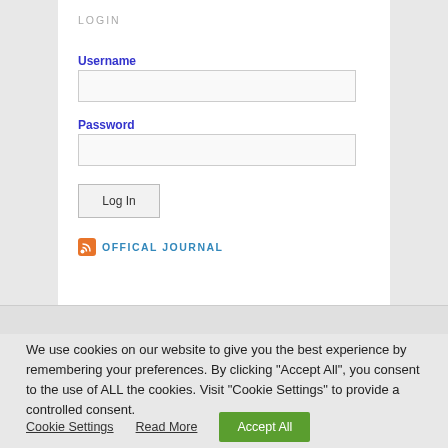LOGIN
Username
Password
[Figure (other): Log In button (form submit button)]
[Figure (other): RSS icon and OFFICAL JOURNAL link]
We use cookies on our website to give you the best experience by remembering your preferences. By clicking “Accept All”, you consent to the use of ALL the cookies. Visit “Cookie Settings” to provide a controlled consent.
Cookie Settings   Read More   Accept All